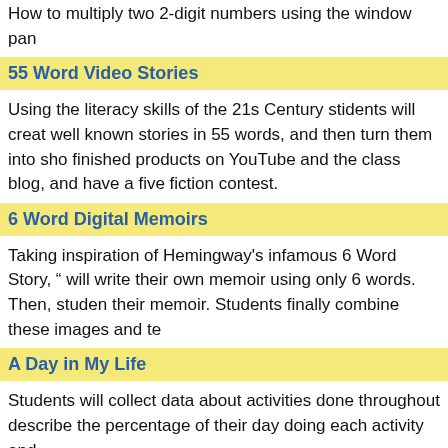How to multiply two 2-digit numbers using the window pan
55 Word Video Stories
Using the literacy skills of the 21s Century stidents will creat well known stories in 55 words, and then turn them into sho finished products on YouTube and the class blog, and have a five fiction contest.
6 Word Digital Memoirs
Taking inspiration of Hemingway's infamous 6 Word Story, “ will write their own memoir using only 6 words. Then, studen their memoir. Students finally combine these images and te
A Day in My Life
Students will collect data about activities done throughout describe the percentage of their day doing each activity and
A Day in the Life
I have a Flip Video camera, and want to make a documentar in Russia. They do not have access to a camera, or funds, so